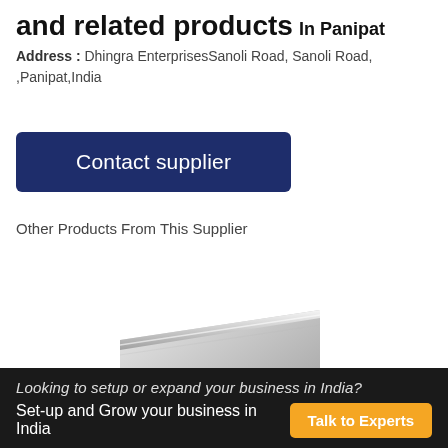and related products In Panipat
Address : Dhingra EnterprisesSanoli Road, Sanoli Road, ,Panipat,India
[Figure (other): Dark navy blue 'Contact supplier' button]
Other Products From This Supplier
[Figure (photo): Partial product image showing metallic/silver angled surface]
Looking to setup or expand your business in India?
Set-up and Grow your business in India
[Figure (other): Orange 'Talk to Experts' button]